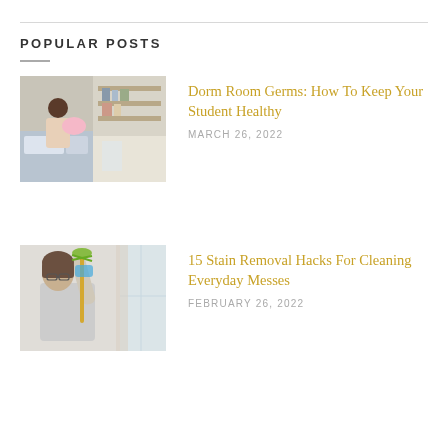POPULAR POSTS
[Figure (photo): Two photos side by side: woman in bedroom making bed, and a shelf/organized room scene]
Dorm Room Germs: How To Keep Your Student Healthy
MARCH 26, 2022
[Figure (photo): Woman with glasses wearing gloves and holding cleaning supplies, cleaning a window]
15 Stain Removal Hacks For Cleaning Everyday Messes
FEBRUARY 26, 2022